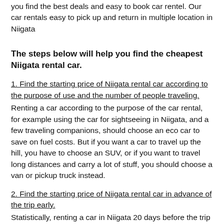you find the best deals and easy to book car rentel. Our car rentals easy to pick up and return in multiple location in Niigata
The steps below will help you find the cheapest Niigata rental car.
1. Find the starting price of Niigata rental car according to the purpose of use and the number of people traveling.
Renting a car according to the purpose of the car rental, for example using the car for sightseeing in Niigata, and a few traveling companions, should choose an eco car to save on fuel costs. But if you want a car to travel up the hill, you have to choose an SUV, or if you want to travel long distances and carry a lot of stuff, you should choose a van or pickup truck instead.
2. Find the starting price of Niigata rental car in advance of the trip early.
Statistically, renting a car in Niigata 20 days before the trip will help you get the cheapest rental car. Most rental cars have a free cancellation condition without any charge. So renting a car in advance is not a problem and you don't have to worry about being charged a